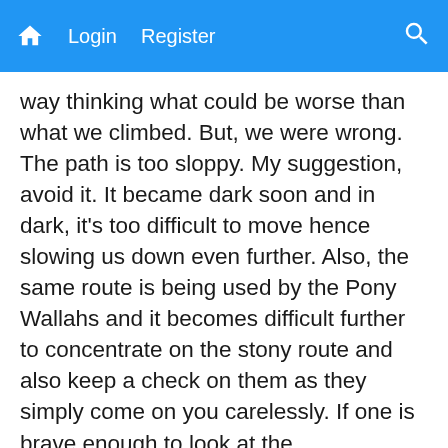Login  Register
way thinking what could be worse than what we climbed. But, we were wrong. The path is too sloppy. My suggestion, avoid it. It became dark soon and in dark, it's too difficult to move hence slowing us down even further. Also, the same route is being used by the Pony Wallahs and it becomes difficult further to concentrate on the stony route and also keep a check on them as they simply come on you carelessly. If one is brave enough to look at the surroundings, they are picturesque along with the marvelous sound of river Mandakini flowing down the valley (though, I must admit, in the night it was scary too). The growing darkness, discharged mobiles, ticking clocks and rumors like - you do not get taxis from Gauri Kund to Sonprayad after 9:30 pm were all adding to our anxiousness to reach back Gaurikund ASAP (though we could now hardly walk due to variety of pains). At one point I felt like throwing away my shoes, thanks to my sister, she saved them making me realize how the hell are